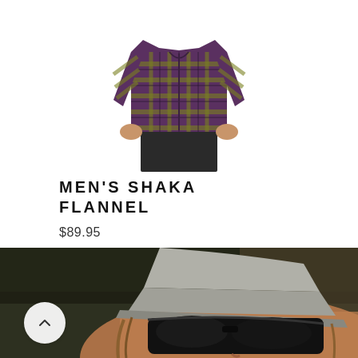[Figure (photo): Man wearing a purple and olive green plaid/flannel shirt, hands in pockets, shown from chest down to mid-thigh, white background]
MEN'S SHAKA FLANNEL
$89.95
[Figure (photo): Close-up of person wearing dark wraparound sunglasses and a light grey cap/beanie, dark outdoor background, with a circular back/up navigation button overlaid in the bottom-left]